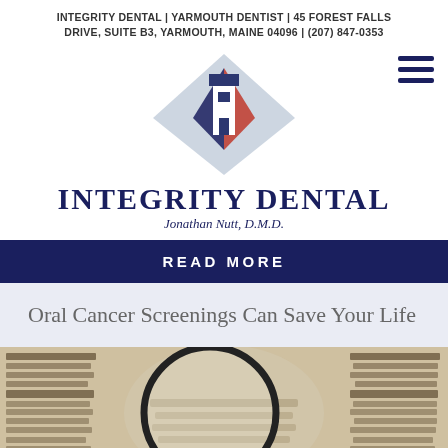INTEGRITY DENTAL | YARMOUTH DENTIST | 45 FOREST FALLS DRIVE, SUITE B3, YARMOUTH, MAINE 04096 | (207) 847-0353
[Figure (logo): Integrity Dental logo: lighthouse inside a diamond shape with navy blue, light blue, red, and white colors. Below: INTEGRITY DENTAL in large navy serif text, Jonathan Nutt, D.M.D. in italic subtitle.]
READ MORE
Oral Cancer Screenings Can Save Your Life
[Figure (photo): Close-up photograph of a magnifying glass over a newspaper page showing blurred text columns.]